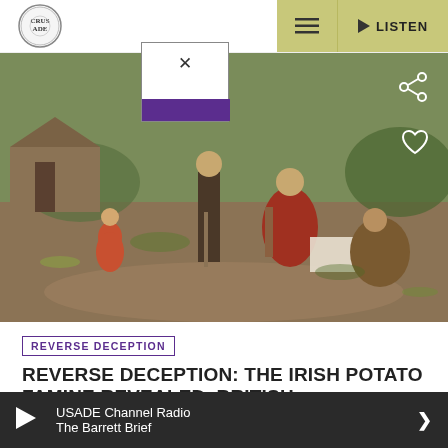CRUSADE (logo) | menu | LISTEN
[Figure (illustration): Historical painting of Irish peasant figures — a child in red, a man with a walking staff, and a woman in red and brown clothing seated outdoors on a rural landscape]
REVERSE DECEPTION
REVERSE DECEPTION: THE IRISH POTATO FAMINE REVEALED, BRITISH PROTESTANTS GENOCIDAL ABUSES OF CATHOLIC IRISH PART III
USADE Channel Radio · The Barrett Brief